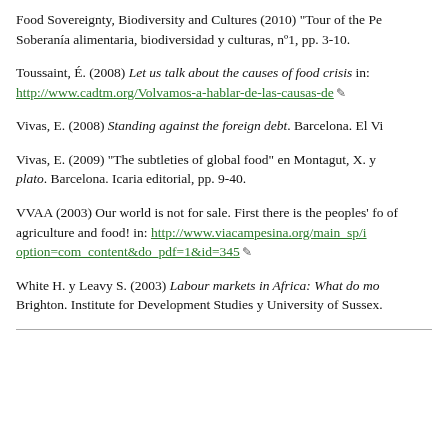Food Sovereignty, Biodiversity and Cultures (2010) "Tour of the Pe... Soberanía alimentaria, biodiversidad y culturas, nº1, pp. 3-10.
Toussaint, É. (2008) Let us talk about the causes of food crisis in: http://www.cadtm.org/Volvamos-a-hablar-de-las-causas-de
Vivas, E. (2008) Standing against the foreign debt. Barcelona. El Vi...
Vivas, E. (2009) "The subtleties of global food" en Montagut, X. y ... plato. Barcelona. Icaria editorial, pp. 9-40.
VVAA (2003) Our world is not for sale. First there is the peoples' fo... of agriculture and food! in: http://www.viacampesina.org/main_sp/i... option=com_content&do_pdf=1&id=345
White H. y Leavy S. (2003) Labour markets in Africa: What do mo... Brighton. Institute for Development Studies y University of Sussex.